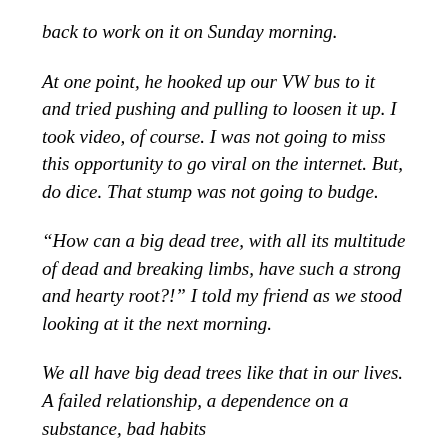back to work on it on Sunday morning.
At one point, he hooked up our VW bus to it and tried pushing and pulling to loosen it up. I took video, of course. I was not going to miss this opportunity to go viral on the internet. But, do dice. That stump was not going to budge.
“How can a big dead tree, with all its multitude of dead and breaking limbs, have such a strong and hearty root?!” I told my friend as we stood looking at it the next morning.
We all have big dead trees like that in our lives. A failed relationship, a dependence on a substance, bad habits